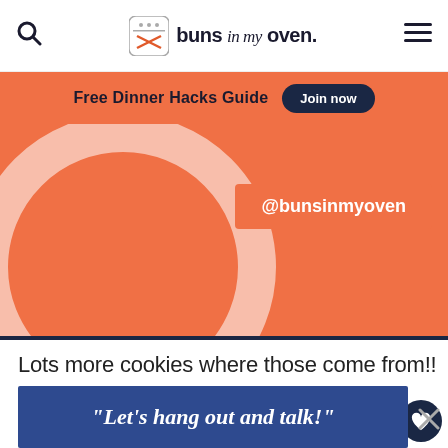buns in my oven.
Free Dinner Hacks Guide  Join now
[Figure (screenshot): @bunsinmyoven social media handle shown on orange background with partial circular logo element]
Lots more cookies where those come from!!
[Figure (screenshot): Food image area (appears blank/loading) with heart save button (858 saves) and share button on right side]
WHAT'S NEXT → Pumpkin Chocolate...
“Let’s hang out and talk!”